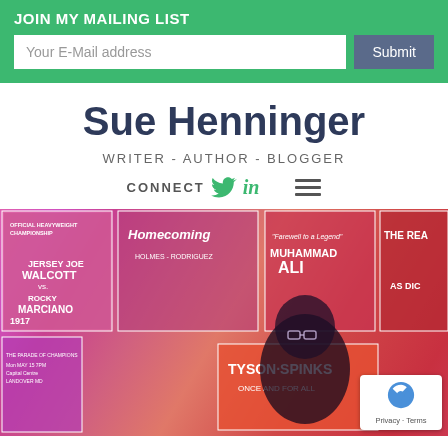JOIN MY MAILING LIST
Your E-Mail address
Submit
Sue Henninger
WRITER - AUTHOR - BLOGGER
CONNECT
[Figure (photo): A person standing in front of a wall covered with vintage boxing match posters including Jersey Joe Walcott vs Rocky Marciano, Muhammad Ali, Tyson-Spinks, and others, with pink/purple lighting.]
Privacy · Terms